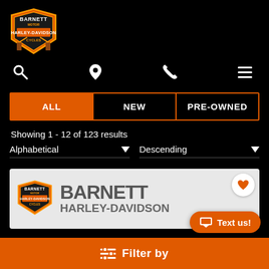[Figure (logo): Barnett Motor Harley-Davidson Cycles logo in orange and black]
[Figure (infographic): Navigation icons: search (magnifier), location pin, phone, hamburger menu]
ALL
NEW
PRE-OWNED
Showing 1 - 12 of 123 results
Alphabetical ▼
Descending ▼
[Figure (photo): Barnett Harley-Davidson dealership banner/logo image on white background]
Text us!
Filter by